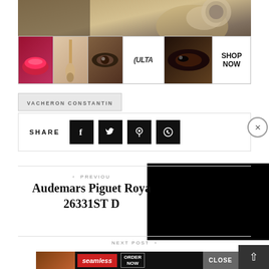[Figure (photo): Close-up of a luxury watch being held, metallic tones]
[Figure (photo): ULTA beauty advertisement banner with makeup images, ULTA logo, and SHOP NOW button]
VACHERON CONSTANTIN
SHARE
< PREVIOUS
Audemars Piguet Royal
26331ST D
NEXT POST >
[Figure (photo): Seamless food delivery advertisement with pizza and ORDER NOW button]